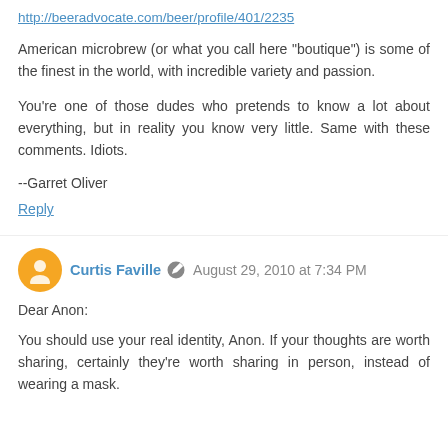http://beeradvocate.com/beer/profile/401/2235
American microbrew (or what you call here "boutique") is some of the finest in the world, with incredible variety and passion.
You're one of those dudes who pretends to know a lot about everything, but in reality you know very little. Same with these comments. Idiots.
--Garret Oliver
Reply
Curtis Faville  August 29, 2010 at 7:34 PM
Dear Anon:
You should use your real identity, Anon. If your thoughts are worth sharing, certainly they're worth sharing in person, instead of wearing a mask.